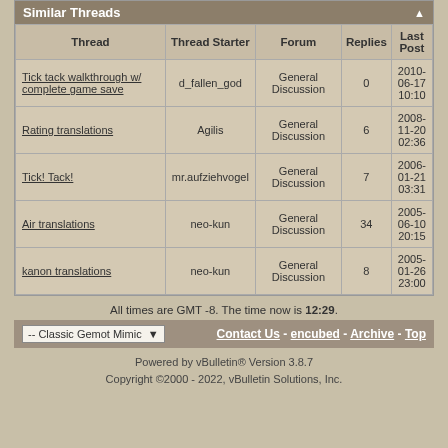Similar Threads
| Thread | Thread Starter | Forum | Replies | Last Post |
| --- | --- | --- | --- | --- |
| Tick tack walkthrough w/ complete game save | d_fallen_god | General Discussion | 0 | 2010-06-17 10:10 |
| Rating translations | Agilis | General Discussion | 6 | 2008-11-20 02:36 |
| Tick! Tack! | mr.aufziehvogel | General Discussion | 7 | 2006-01-21 03:31 |
| Air translations | neo-kun | General Discussion | 34 | 2005-06-10 20:15 |
| kanon translations | neo-kun | General Discussion | 8 | 2005-01-26 23:00 |
All times are GMT -8. The time now is 12:29.
-- Classic Gemot Mimic   Contact Us - encubed - Archive - Top
Powered by vBulletin® Version 3.8.7
Copyright ©2000 - 2022, vBulletin Solutions, Inc.